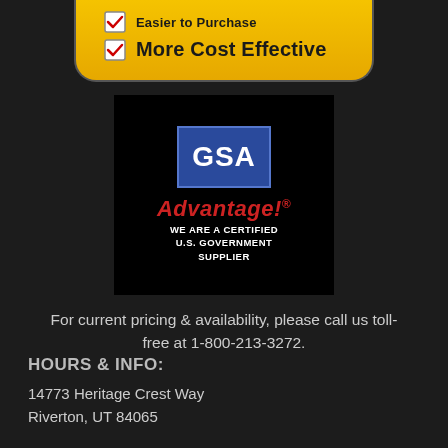[Figure (infographic): Yellow rounded badge with checkboxes showing 'More Cost Effective' text. Partially visible at top of page.]
[Figure (logo): GSA Advantage! logo on black background. Blue square with white 'GSA' text, red italic 'Advantage!' text, and white text reading 'WE ARE A CERTIFIED U.S. GOVERNMENT SUPPLIER']
For current pricing & availability, please call us toll-free at 1-800-213-3272.
HOURS & INFO:
14773 Heritage Crest Way
Riverton, UT 84065